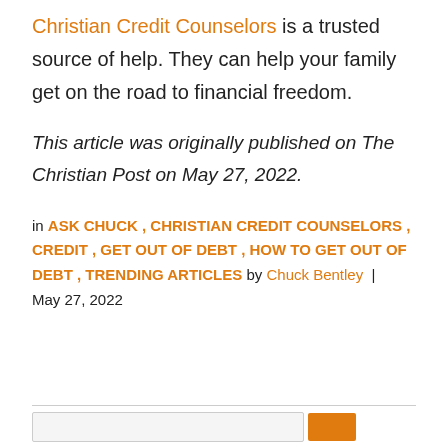Christian Credit Counselors is a trusted source of help. They can help your family get on the road to financial freedom.
This article was originally published on The Christian Post on May 27, 2022.
in ASK CHUCK , CHRISTIAN CREDIT COUNSELORS , CREDIT , GET OUT OF DEBT , HOW TO GET OUT OF DEBT , TRENDING ARTICLES by Chuck Bentley | May 27, 2022